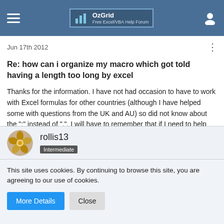OzGrid — Free Excel/VBA Help Forum
Jun 17th 2012
Re: how can i organize my macro which got told having a length too long by excel
Thanks for the information. I have not had occasion to have to work with Excel formulas for other countries (although I have helped some with questions from the UK and AU) so did not know about the ";" instead of ",". I will have to remember that if I need to help others outside the US.
rollis13
Intermediate
This site uses cookies. By continuing to browse this site, you are agreeing to our use of cookies.